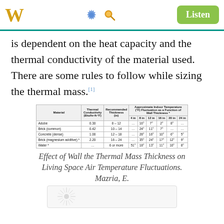W [gear icon] [search icon] Listen
is dependent on the heat capacity and the thermal conductivity of the material used. There are some rules to follow while sizing the thermal mass.[1]
| Material | Thermal Conductivity (Btu/hr·ft·°F) | Recommended Thickness (in) | Approximate Indoor Temperature (°F) Fluctuation as a Function of Wall Thickness * — 4 in | 8 in | 12 in | 16 in | 20 in | 24 in |
| --- | --- | --- | --- | --- | --- | --- | --- | --- |
| Adobe | 0.30 | 8 – 12 | … | 16° | 7° | 2° | 8° | … |
| Brick (common) | 0.42 | 10 – 14 | … | 24° | 11° | 7° | … | … |
| Concrete (dense) | 1.00 | 12 – 18 | … | 28° | 16° | 10° | 6° | 5° |
| Brick (magnesium additive) * | 2.20 | 16 – 24 | … | 35° | 24° | 17° | 12° | 9° |
| Water * | … | 6 or more | 51° | 18° | 13° | 11° | 10° | 8° |
Effect of Wall the Thermal Mass Thickness on Living Space Air Temperature Fluctuations. Mazria, E.
[Figure (photo): Partial view of a circular starburst or sun-like diagram at the bottom of the page.]